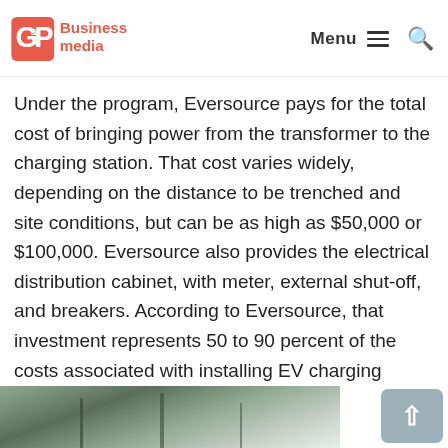C&P Business media — Menu [hamburger] [search]
Under the program, Eversource pays for the total cost of bringing power from the transformer to the charging station. That cost varies widely, depending on the distance to be trenched and site conditions, but can be as high as $50,000 or $100,000. Eversource also provides the electrical distribution cabinet, with meter, external shut-off, and breakers. According to Eversource, that investment represents 50 to 90 percent of the costs associated with installing EV charging stations.
[Figure (photo): Outdoor photo showing a person in winter clothing (grey hat) among bare trees, partially visible at bottom of page]